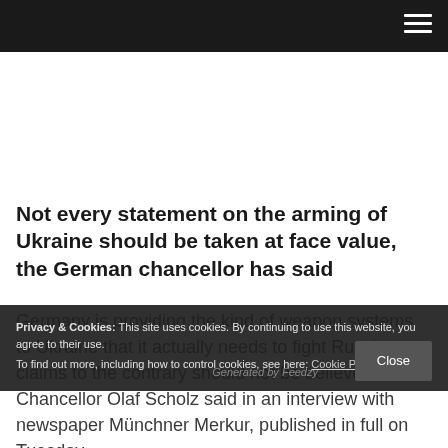Not every statement on the arming of Ukraine should be taken at face value, the German chancellor has said
Germany is providing the kind of weapon systems to Ukraine that it actually needs to fight Russia, so claims to the contrary should not be believed, Chancellor Olaf Scholz said in an interview with newspaper Münchner Merkur, published in full on Tuesday.
Privacy & Cookies: This site uses cookies. By continuing to use this website, you agree to their use.
To find out more, including how to control cookies, see here: Cookie Policy
Generated by Feedzy